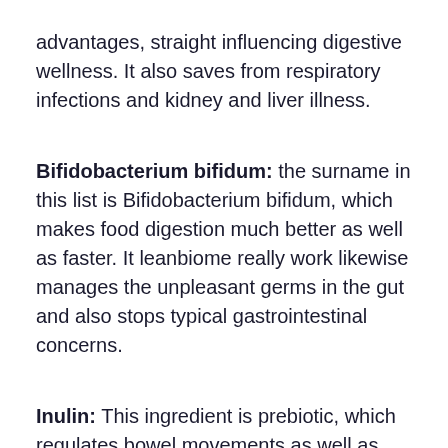advantages, straight influencing digestive wellness. It also saves from respiratory infections and kidney and liver illness.
Bifidobacterium bifidum: the surname in this list is Bifidobacterium bifidum, which makes food digestion much better as well as faster. It leanbiome really work likewise manages the unpleasant germs in the gut and also stops typical gastrointestinal concerns.
Inulin: This ingredient is prebiotic, which regulates bowel movements as well as help in food digestion. Without inulin, problems such as flatulence, irregularity, and also acidity might turn up, making food digestion uneasy. In addition to that, inulin aids in the development and spread of